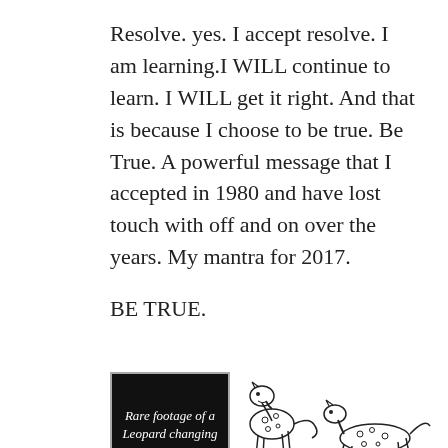Resolve. yes. I accept resolve. I am learning.I WILL continue to learn. I WILL get it right. And that is because I choose to be true. Be True. A powerful message that I accepted in 1980 and have lost touch with off and on over the years. My mantra for 2017.
BE TRUE.
[Figure (illustration): A black sign reading 'Rare footage of a Leopard changing' alongside a cartoon illustration of leopards/spotted cats in various poses, black and white ink drawing style.]